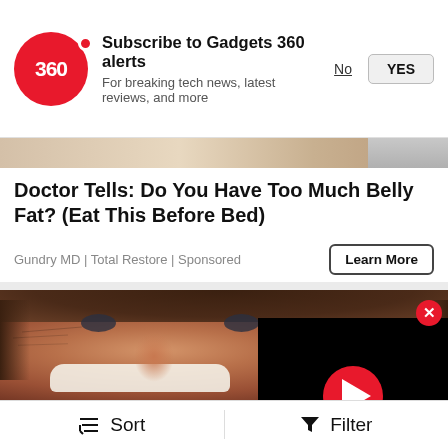[Figure (screenshot): Gadgets 360 notification subscription prompt with red circular logo, 'Subscribe to Gadgets 360 alerts' heading, subtext 'For breaking tech news, latest reviews, and more', and No/YES buttons]
[Figure (photo): Partial advertisement image strip at top of ad unit]
Doctor Tells: Do You Have Too Much Belly Fat? (Eat This Before Bed)
Gundry MD | Total Restore | Sponsored
[Figure (photo): Close-up photo of a smiling man's face with brown hair, with a video player overlay showing a red play button on black background, and a red close button]
Sort   Filter